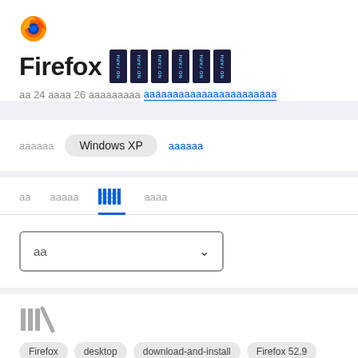[Figure (logo): Firefox browser logo - orange and purple fox icon]
Firefox [NO ГАРН badges x6]
аа 24 аааа 26 аааааааааааааааааааааааааааааааааааа
аааааа  Windows XP  аааааа
аа  ааааа  [bar chart icon active]  аааа
аа ∨ (dropdown)
[Figure (illustration): Library bookmark icon]
Firefox  desktop  download-and-install  Firefox 52.9